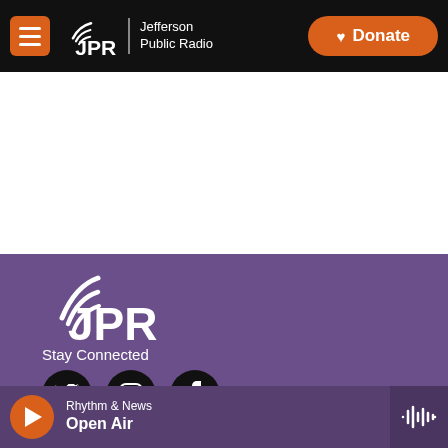[Figure (logo): JPR Jefferson Public Radio website header with menu button, JPR logo, and orange Donate button on black background]
[Figure (logo): JPR logo in white on purple footer background]
Stay Connected
[Figure (illustration): Social media icons: Twitter, Instagram, Facebook on black circular backgrounds]
Rhythm & News
Open Air